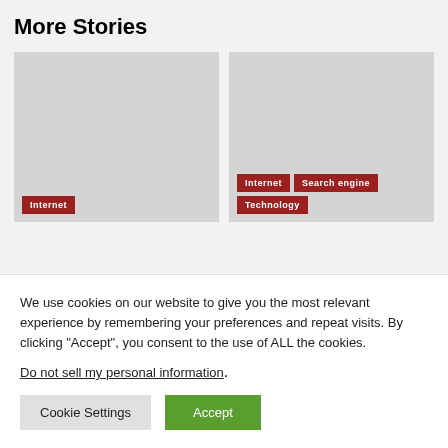More Stories
[Figure (photo): Gray placeholder image card with Internet tag label in red]
[Figure (photo): Gray placeholder image card with Internet, Search engine, and Technology tag labels in red]
We use cookies on our website to give you the most relevant experience by remembering your preferences and repeat visits. By clicking “Accept”, you consent to the use of ALL the cookies.
Do not sell my personal information.